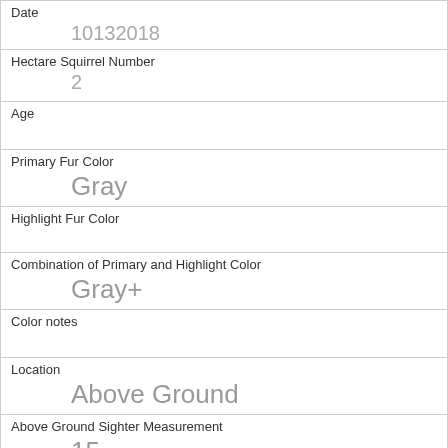| Date | 10132018 |
| Hectare Squirrel Number | 2 |
| Age |  |
| Primary Fur Color | Gray |
| Highlight Fur Color |  |
| Combination of Primary and Highlight Color | Gray+ |
| Color notes |  |
| Location | Above Ground |
| Above Ground Sighter Measurement | 15 |
| Specific Location | BIG TREE |
| Running |  |